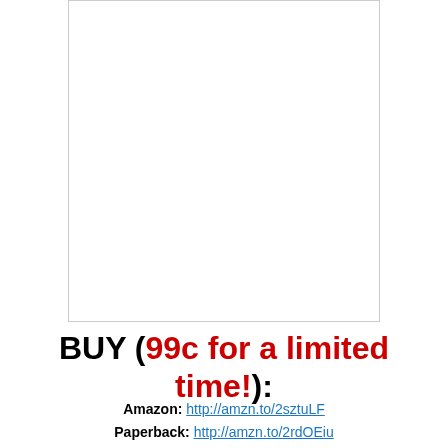[Figure (other): Book cover image placeholder — white rectangle with thin gray border]
BUY (99c for a limited time!):
Amazon: http://amzn.to/2sztuLF
Paperback: http://amzn.to/2rdOEiu
Amazon AU: http://amzn.to/2roodYo